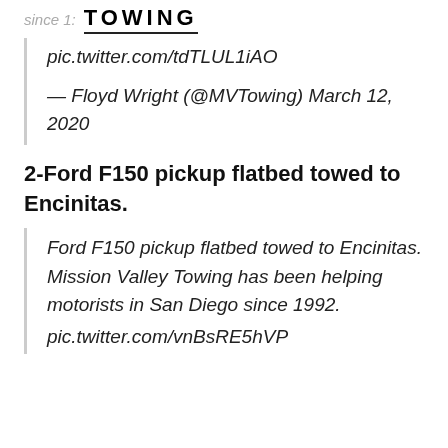since 1... TOWING
pic.twitter.com/tdTLUL1iAO
— Floyd Wright (@MVTowing) March 12, 2020
2-Ford F150 pickup flatbed towed to Encinitas.
Ford F150 pickup flatbed towed to Encinitas. Mission Valley Towing has been helping motorists in San Diego since 1992. pic.twitter.com/vnBsRE5hVP